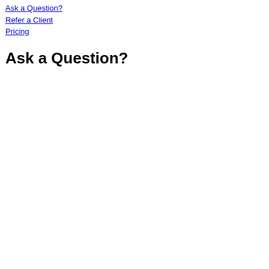Ask a Question?
Refer a Client
Pricing
Ask a Question?